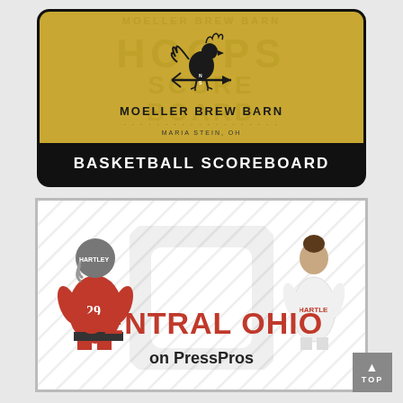[Figure (logo): Moeller Brew Barn Hoops Basketball Scoreboard advertisement banner. Gold background with rooster/weathervane logo, text MOELLER BREW BARN, MARIA STEIN, OH, and black strip at bottom reading BASKETBALL SCOREBOARD]
[Figure (illustration): Central Ohio on PressPros advertisement banner. White background with diagonal stripe watermark pattern, faded Ohio State Block O watermark, two Hartley athletes (football player #29 in red uniform on left, female basketball player in white uniform on right), bold red text CENTRAL OHIO and black text 'on PressPros']